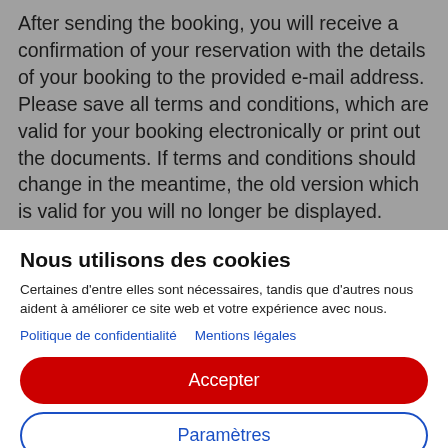After sending the booking, you will receive a confirmation of your reservation with the details of your booking to the provided e-mail address. Please save all terms and conditions, which are valid for your booking electronically or print out the documents. If terms and conditions should change in the meantime, the old version which is valid for you will no longer be displayed.
Nous utilisons des cookies
Certaines d'entre elles sont nécessaires, tandis que d'autres nous aident à améliorer ce site web et votre expérience avec nous.
Politique de confidentialité   Mentions légales
Accepter
Paramètres